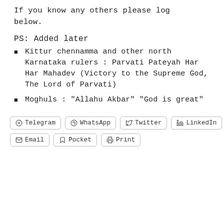If you know any others please log below.
PS: Added later
Kittur chennamma and other north Karnataka rulers : Parvati Pateyah Har Har Mahadev (Victory to the Supreme God, The Lord of Parvati)
Moghuls : "Allahu Akbar" "God is great"
Telegram  WhatsApp  Twitter  LinkedIn  Email  Pocket  Print